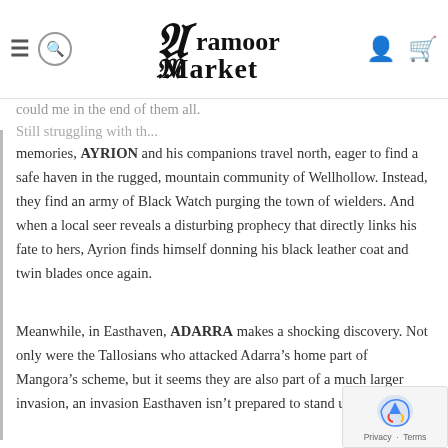Aramoor Market
could me in the end of them all. Still struggling with th... memories, AYRION and his companions travel north, eager to find a safe haven in the rugged, mountain community of Wellhollow. Instead, they find an army of Black Watch purging the town of wielders. And when a local seer reveals a disturbing prophecy that directly links his fate to hers, Ayrion finds himself donning his black leather coat and twin blades once again.
Meanwhile, in Easthaven, ADARRA makes a shocking discovery. Not only were the Tallosians who attacked Adarra's home part of Mangora's scheme, but it seems they are also part of a much larger invasion, an invasion Easthaven isn't prepared to stand up against.